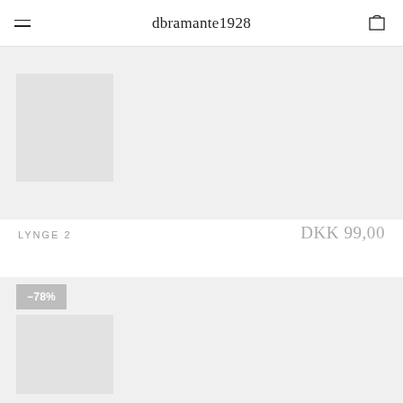dbramante1928
[Figure (photo): Product image placeholder for LYNGE 2, light grey background with a smaller grey inner box]
LYNGE 2   DKK 99,00
[Figure (photo): Second product image placeholder with light grey background, showing -78% discount badge]